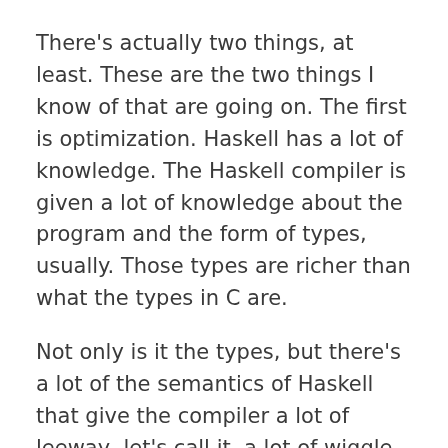There's actually two things, at least. These are the two things I know of that are going on. The first is optimization. Haskell has a lot of knowledge. The Haskell compiler is given a lot of knowledge about the program and the form of types, usually. Those types are richer than what the types in C are.
Not only is it the types, but there's a lot of the semantics of Haskell that give the compiler a lot of leeway, let's call it, a lot of wiggle room for optimization.
One of those is lazy evaluation. In C, it's strict evaluation, you put a function there, it executes one line at the time. It's how you should think of C executing. It's going to call this line. Everything on this line is going to finish before we get to the next